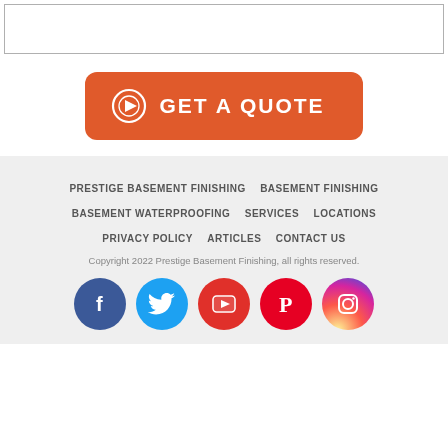[Figure (screenshot): White top bar element with border]
[Figure (other): Orange GET A QUOTE button with arrow icon]
PRESTIGE BASEMENT FINISHING  BASEMENT FINISHING  BASEMENT WATERPROOFING  SERVICES  LOCATIONS  PRIVACY POLICY  ARTICLES  CONTACT US
Copyright 2022 Prestige Basement Finishing, all rights reserved.
[Figure (other): Social media icons row: Facebook, Twitter, YouTube, Pinterest, Instagram]